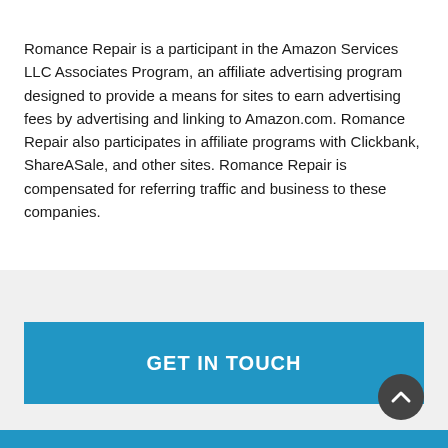Romance Repair is a participant in the Amazon Services LLC Associates Program, an affiliate advertising program designed to provide a means for sites to earn advertising fees by advertising and linking to Amazon.com. Romance Repair also participates in affiliate programs with Clickbank, ShareASale, and other sites. Romance Repair is compensated for referring traffic and business to these companies.
GET IN TOUCH